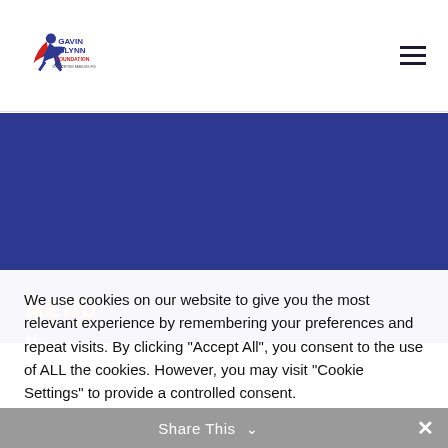Gavin Glynn Foundation logo and navigation menu
MENU
We use cookies on our website to give you the most relevant experience by remembering your preferences and repeat visits. By clicking "Accept All", you consent to the use of ALL the cookies. However, you may visit "Cookie Settings" to provide a controlled consent.
Cookie Settings | Accept All
Share This ✕